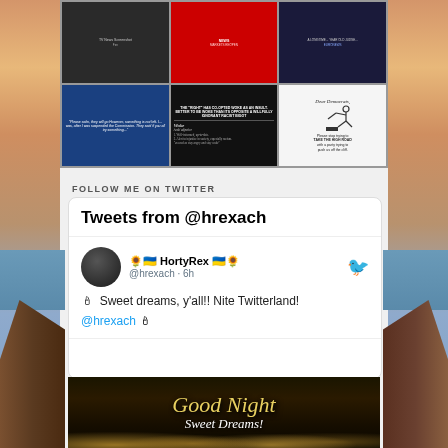[Figure (screenshot): Grid of 6 social media images in 2 rows of 3: top row shows TV news screenshots, bottom row shows political memes including 'Woke' definition and 'Dear Democrats' image]
FOLLOW ME ON TWITTER
[Figure (screenshot): Twitter widget showing tweets from @hrexach. Header says 'Tweets from @hrexach'. Tweet from HortyRex @hrexach 6h: '🕯 Sweet dreams, y'all!! Nite Twitterland! @hrexach 🕯']
[Figure (photo): Good Night Sweet Dreams image with gold cursive text on dark background with bokeh lights]